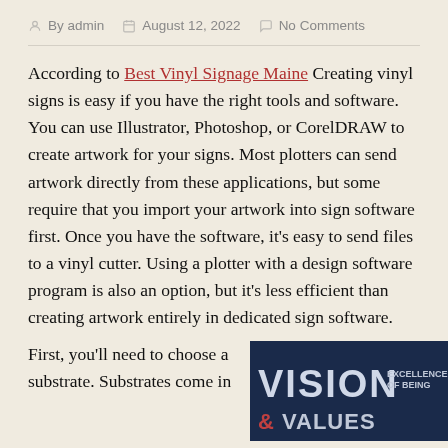By admin   August 12, 2022   No Comments
According to Best Vinyl Signage Maine Creating vinyl signs is easy if you have the right tools and software. You can use Illustrator, Photoshop, or CorelDRAW to create artwork for your signs. Most plotters can send artwork directly from these applications, but some require that you import your artwork into sign software first. Once you have the software, it's easy to send files to a vinyl cutter. Using a plotter with a design software program is also an option, but it's less efficient than creating artwork entirely in dedicated sign software.
First, you'll need to choose a substrate. Substrates come in
[Figure (photo): Photo of a vinyl sign on a wall reading VISION with additional text EXCELLENCE and VALUES in large letters on a dark navy background]